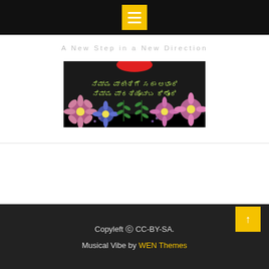A New Step in a New Direction
[Figure (illustration): Decorative floral image with pink and blue flowers on a dark background, with Kannada script text overlay and a red oval at the top center.]
Copyleft © CC-BY-SA. Musical Vibe by WEN Themes